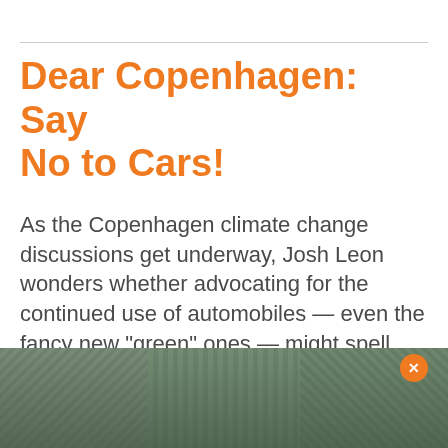Dear Copenhagen: Say No to Cars!
As the Copenhagen climate change discussions get underway, Josh Leon wonders whether advocating for the continued use of automobiles — even the fancy new “green” ones — might spell disaster for cities.
JOSH LEON   DECEMBER 8, 2009
[Figure (photo): Street scene photograph showing a suburban road with utility poles, trees and commercial buildings in the background]